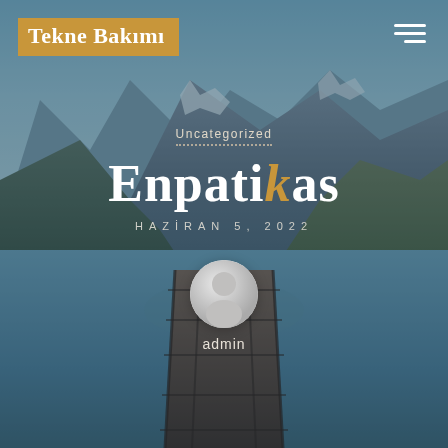[Figure (photo): Background photo of a mountain lake with wooden dock/pier extending into calm reflective water, surrounded by forested mountains and blue sky]
Tekne Bakımı
Uncategorized
Enpatikas
HAZİRAN 5, 2022
[Figure (illustration): Circular user avatar icon with generic person silhouette in gray tones]
admin